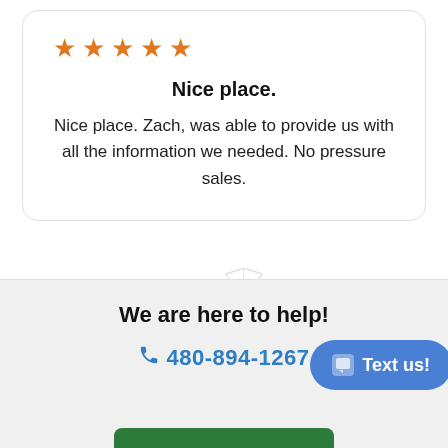[Figure (other): Five orange star rating icons]
Nice place.
Nice place. Zach, was able to provide us with all the information we needed. No pressure sales.
Christopher
We are here to help!
480-894-1267
Text us!